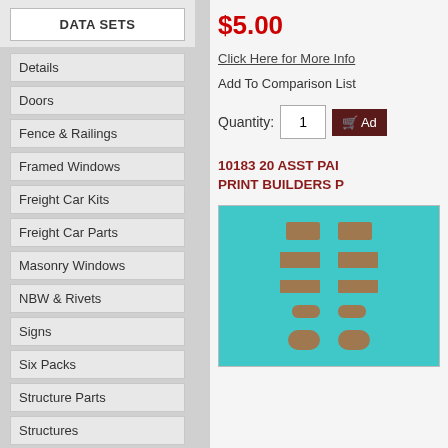DATA SETS
Details
Doors
Fence & Railings
Framed Windows
Freight Car Kits
Freight Car Parts
Masonry Windows
NBW & Rivets
Signs
Six Packs
Structure Parts
Structures
Trackside
Wire
$5.00
Click Here for More Info
Add To Comparison List
Quantity: 1
10183 20 ASST PAI PRINT BUILDERS P
[Figure (photo): Product image on teal/turquoise background showing rows of small brown rectangular model parts arranged in a grid pattern]